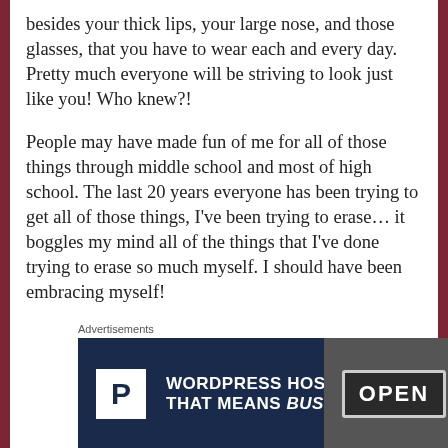besides your thick lips, your large nose, and those glasses, that you have to wear each and every day. Pretty much everyone will be striving to look just like you! Who knew?!
People may have made fun of me for all of those things through middle school and most of high school. The last 20 years everyone has been trying to get all of those things, I've been trying to erase... it boggles my mind all of the things that I've done trying to erase so much myself. I should have been embracing myself!
[Figure (other): Advertisement banner for WordPress hosting. Dark navy background with 'P' logo, text reading 'WORDPRESS HOSTING THAT MEANS BUSINESS.' and an image of an OPEN sign on the right.]
I guess the moral of the story is whatever is in trend today, will be out of trend tomorrow. So it